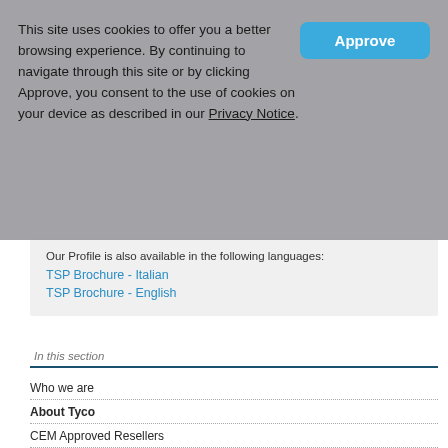This site uses cookies to offer you a better browsing experience. By continuing to navigate through this site or by clicking Approve, you consent to the use of cookies on your device as described in our Privacy Notice.
Our Profile is also available in the following languages:
TSP Brochure - Italian
TSP Brochure - English
In this section
Who we are
About Tyco
CEM Approved Resellers
Integration Partners